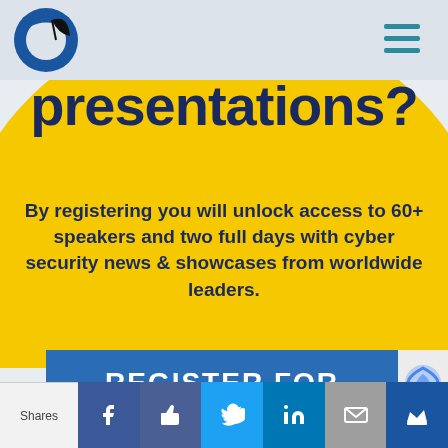[Figure (logo): Blue circular logo with satellite dish or globe icon, partially visible]
[Figure (other): Hamburger menu icon (three horizontal lines) in teal/dark blue color]
presentations?
By registering you will unlock access to 60+ speakers and two full days with cyber security news & showcases from worldwide leaders.
REGISTER FOR
[Figure (other): Social share bar with Facebook, Like, Twitter, LinkedIn, Email, and Crown/bookmark icons. Shares label on left.]